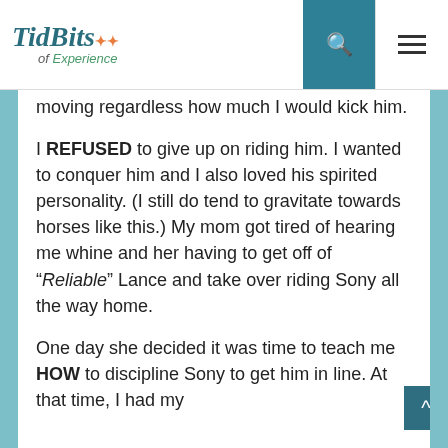TidBits of Experience — navigation bar with search and menu icons
moving regardless how much I would kick him.
I REFUSED to give up on riding him. I wanted to conquer him and I also loved his spirited personality. (I still do tend to gravitate towards horses like this.) My mom got tired of hearing me whine and her having to get off of “Reliable” Lance and take over riding Sony all the way home.
One day she decided it was time to teach me HOW to discipline Sony to get him in line. At that time, I had my